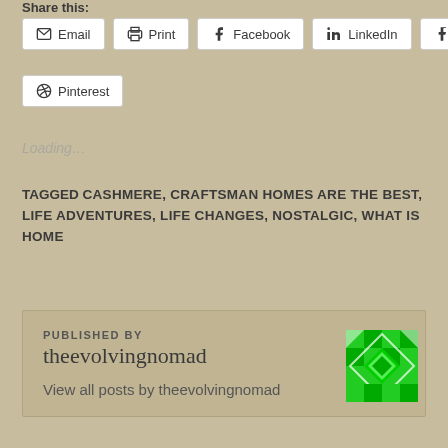Share this:
Email  Print  Facebook  LinkedIn  Tumblr  Pinterest
Loading...
TAGGED CASHMERE, CRAFTSMAN HOMES ARE THE BEST, LIFE ADVENTURES, LIFE CHANGES, NOSTALGIC, WHAT IS HOME
PUBLISHED BY
theevolvingnomad
View all posts by theevolvingnomad
[Figure (logo): Green pixel/quilt pattern avatar for theevolvingnomad]